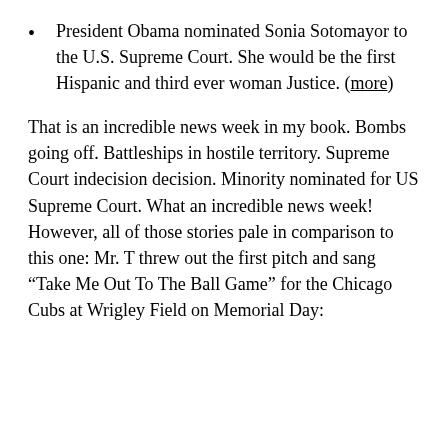President Obama nominated Sonia Sotomayor to the U.S. Supreme Court. She would be the first Hispanic and third ever woman Justice. (more)
That is an incredible news week in my book. Bombs going off. Battleships in hostile territory. Supreme Court indecision decision. Minority nominated for US Supreme Court. What an incredible news week! However, all of those stories pale in comparison to this one: Mr. T threw out the first pitch and sang “Take Me Out To The Ball Game” for the Chicago Cubs at Wrigley Field on Memorial Day: